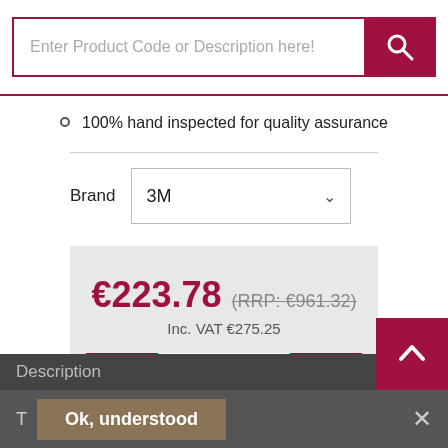[Figure (screenshot): Search bar with text input 'Enter Product Code or Description here!' and a dark red search button with magnifying glass icon]
100% hand inspected for quality assurance
Brand   3M
€223.78 (RRP: €961.32) Inc. VAT €275.25
1
Add to Basket
Description
T   Ok, understood   ×